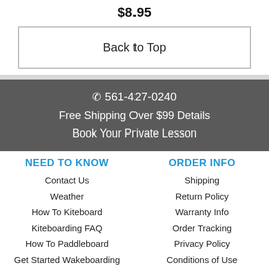$8.95
Back to Top
☎ 561-427-0240
Free Shipping Over $99 Details
Book Your Private Lesson
NEED TO KNOW
Contact Us
Weather
How To Kiteboard
Kiteboarding FAQ
How To Paddleboard
Get Started Wakeboarding
ORDER INFO
Shipping
Return Policy
Warranty Info
Order Tracking
Privacy Policy
Conditions of Use